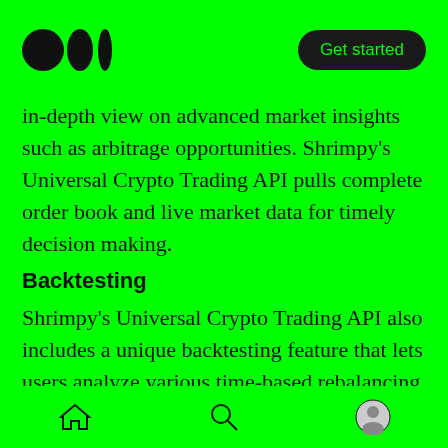Medium logo | Get started
in-depth view on advanced market insights such as arbitrage opportunities. Shrimpy's Universal Crypto Trading API pulls complete order book and live market data for timely decision making.
Backtesting
Shrimpy's Universal Crypto Trading API also includes a unique backtesting feature that lets users analyze various time-based rebalancing strategies. Most crypto backtesting tools tend to pull data from aggregated sources such as CoinMarketCap due to its convenience of
Home | Search | Profile